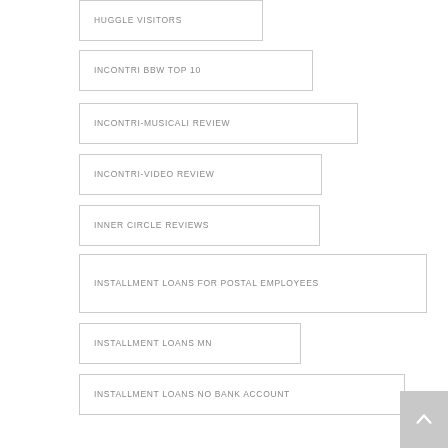HUGGLE VISITORS
INCONTRI BBW TOP 10
INCONTRI-MUSICALI REVIEW
INCONTRI-VIDEO REVIEW
INNER CIRCLE REVIEWS
INSTALLMENT LOANS FOR POSTAL EMPLOYEES
INSTALLMENT LOANS MN
INSTALLMENT LOANS NO BANK ACCOUNT
INSTANT CASH PAYDAY LOANS
INSTANT PAYDAY LOANS ONLINE